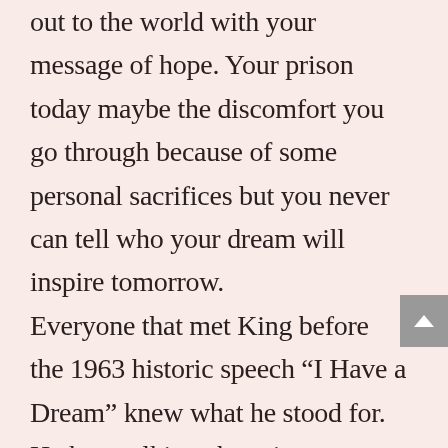out to the world with your message of hope. Your prison today maybe the discomfort you go through because of some personal sacrifices but you never can tell who your dream will inspire tomorrow. Everyone that met King before the 1963 historic speech “I Have a Dream” knew what he stood for. He kept talking about it to everyone.